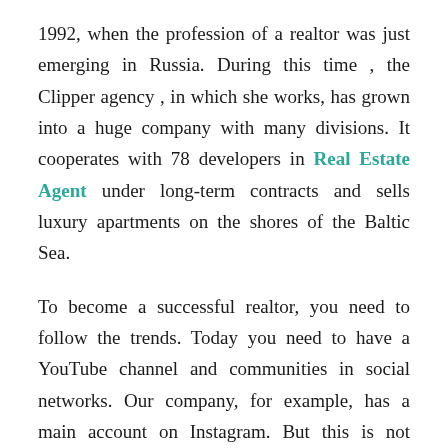1992, when the profession of a realtor was just emerging in Russia. During this time , the Clipper agency , in which she works, has grown into a huge company with many divisions. It cooperates with 78 developers in Real Estate Agent under long-term contracts and sells luxury apartments on the shores of the Baltic Sea.
To become a successful realtor, you need to follow the trends. Today you need to have a YouTube channel and communities in social networks. Our company, for example, has a main account on Instagram. But this is not enough. Each agent also maintains a professional page on social networks and promotes a personal brand against the background of the company's brand. We help each other with reposts and comments. All this brings popularity to both the agency and specialists. Another tip for novice agents is to choose the right company and the right